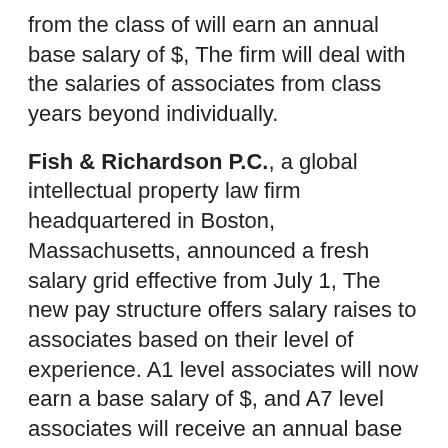from the class of will earn an annual base salary of $, The firm will deal with the salaries of associates from class years beyond individually.
Fish & Richardson P.C., a global intellectual property law firm headquartered in Boston, Massachusetts, announced a fresh salary grid effective from July 1, The new pay structure offers salary raises to associates based on their level of experience. A1 level associates will now earn a base salary of $, and A7 level associates will receive an annual base pay of $,
Pillsbury Winthrop Shaw Pittman LLP, a full-service, global law firm with a focus on energy, financial services, and real estate industries, also announced salary increases for on-track associates and also raised its bonit